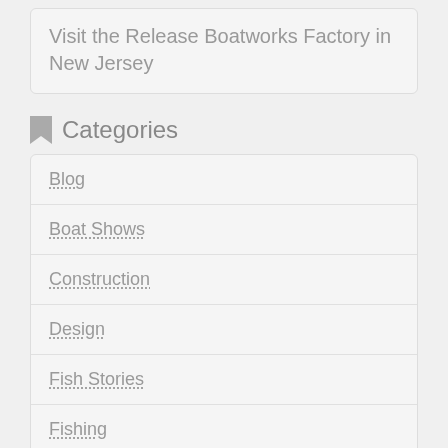Visit the Release Boatworks Factory in New Jersey
Categories
Blog
Boat Shows
Construction
Design
Fish Stories
Fishing
Gallery